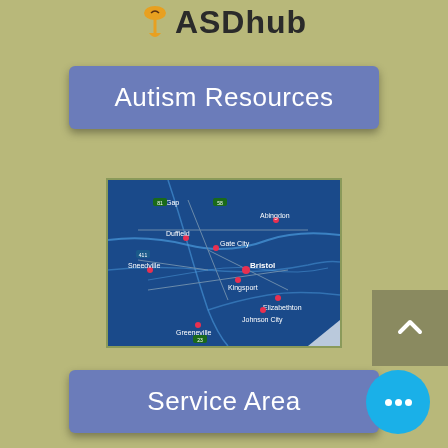ASDhub
Autism Resources
[Figure (map): A geographic map showing the Tri-Cities region of Tennessee/Virginia including cities: Abingdon, Bristol, Kingsport, Johnson City, Elizabethton, Greeneville, Sneedville, Duffield, Gate City, Gap. Blue background map with location pin markers.]
Service Area